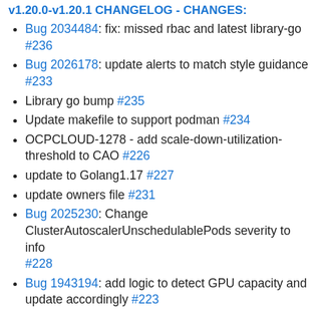v1.20.0-v1.20.1 CHANGELOG - CHANGES:
Bug 2034484: fix: missed rbac and latest library-go #236
Bug 2026178: update alerts to match style guidance #233
Library go bump #235
Update makefile to support podman #234
OCPCLOUD-1278 - add scale-down-utilization-threshold to CAO #226
update to Golang1.17 #227
update owners file #231
Bug 2025230: Change ClusterAutoscalerUnschedulablePods severity to info #228
Bug 1943194: add logic to detect GPU capacity and update accordingly #223
Updating ose-cluster-autoscaler-operator images to be consistent with ART #222
Full changelog